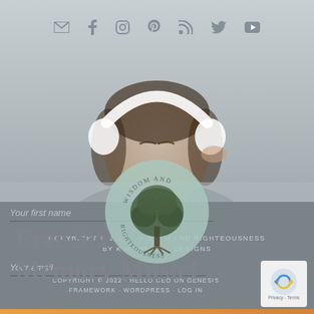[Figure (photo): Hero image of a young woman wearing large white headphones, eyes closed, listening to music. Overlaid with social media icons at the top and a circular logo for 'Wisdom and Righteousness' in the center.]
Free Scripture Memory Music!
Your first name
COPYRIGHT © 2022 · WISDOM AND RIGHTEOUSNESS BY KARENB.GILL DESIGNS
COPYRIGHT © 2022 · HELLO CEO ON GENESIS FRAMEWORK · WORDPRESS · LOG IN
Your email